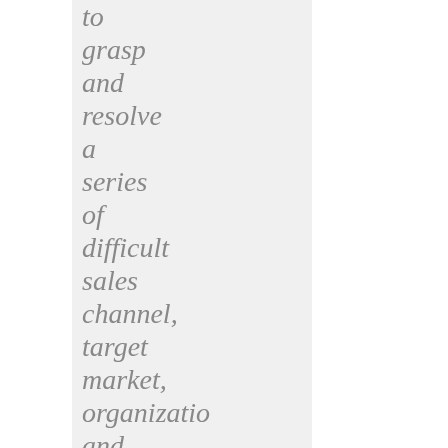to grasp and resolve a series of difficult sales channel, target market, organizational and operational issues all within my constraints of how I prefer to run my businesses Together